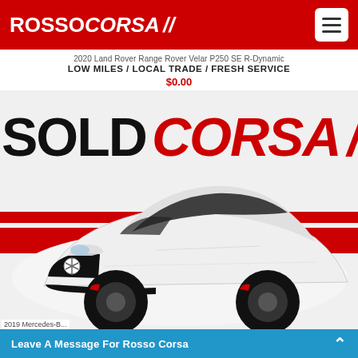ROSSO CORSA //
2020 Land Rover Range Rover Velar P250 SE R-Dynamic
LOW MILES / LOCAL TRADE / FRESH SERVICE
$0.00
[Figure (photo): White Mercedes-Benz CLS sedan photographed at an angle from the front-left, overlaid with large black SOLD text and ROSSO CORSA II branding in red, with two red horizontal stripes across the middle of the image]
2019 Mercedes-B...
Leave A Message For Rosso Corsa